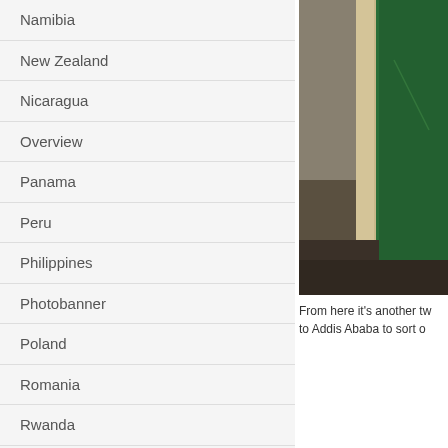Namibia
New Zealand
Nicaragua
Overview
Panama
Peru
Philippines
Photobanner
Poland
Romania
Rwanda
Singapore
Slovakia
South Africa
Spain
Switzerland
[Figure (photo): Close-up photo showing a green door or wall panel with a light-colored border or frame, dark background at bottom]
From here it’s another tw to Addis Ababa to sort o